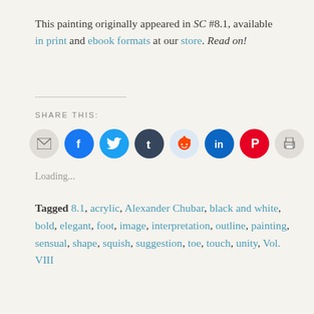This painting originally appeared in SC #8.1, available in print and ebook formats at our store. Read on!
SHARE THIS:
[Figure (infographic): Row of 8 circular social sharing icon buttons: email (gray), Facebook (blue), Twitter (light blue), Tumblr (dark navy), Reddit (light blue), LinkedIn (teal blue), Pinterest (red), Print (gray)]
Loading...
Tagged 8.1, acrylic, Alexander Chubar, black and white, bold, elegant, foot, image, interpretation, outline, painting, sensual, shape, squish, suggestion, toe, touch, unity, Vol. VIII